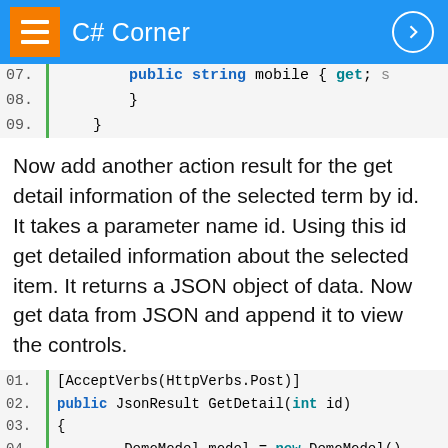C# Corner
[Figure (screenshot): Code snippet lines 07-09 showing public string mobile { get; s... } }]
Now add another action result for the get detail information of the selected term by id. It takes a parameter name id. Using this id get detailed information about the selected item. It returns a JSON object of data. Now get data from JSON and append it to view the controls.
[Figure (screenshot): Code snippet lines 01-09+ showing [AcceptVerbs(HttpVerbs.Post)] public JsonResult GetDetail(int id) { DemoModel model = new DemoModel(); // select data by id here display if (id == 0) { model.id = 1; model.name = "Yogesh Tyagi"; model.mobile = "0469516787";]